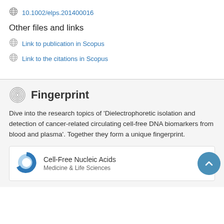10.1002/elps.201400016
Other files and links
Link to publication in Scopus
Link to the citations in Scopus
Fingerprint
Dive into the research topics of 'Dielectrophoretic isolation and detection of cancer-related circulating cell-free DNA biomarkers from blood and plasma'. Together they form a unique fingerprint.
Cell-Free Nucleic Acids
Medicine & Life Sciences